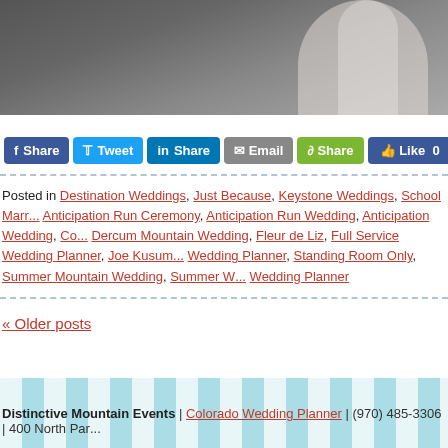[Figure (photo): Top portion of a wedding photo showing a bride in a white dress against a dark outdoor background]
Share | Tweet | Share | Email | Share | Like 0
Posted in Destination Weddings, Just Because, Keystone Weddings, School Marr... Anticipation Run Ceremony, Anticipation Run Wedding, Anticipation Wedding, Co... Dercum Mountain Wedding, Fleur de Liz, Full Service Wedding Planner, Joe Kusum... Wedding Planner, Standing Room Only, Summer Mountain Wedding, Summer W... Wedding Planner
« Older posts
Distinctive Mountain Events | Colorado Wedding Planner | (970) 485-3306 | 400 North Par...